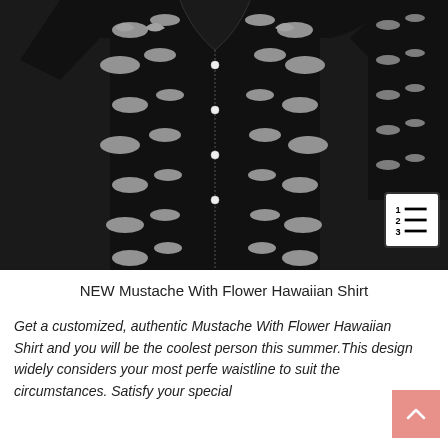[Figure (photo): Two black Hawaiian shirts with mustache pattern printed all over, shown front and back views on white mannequin/model torso. Shirts have button-down front and short sleeves. The mustache designs are rendered in white/grey on the black fabric.]
NEW Mustache With Flower Hawaiian Shirt
Get a customized, authentic Mustache With Flower Hawaiian Shirt and you will be the coolest person this summer.This design widely considers your most perfe waistline to suit the circumstances. Satisfy your special